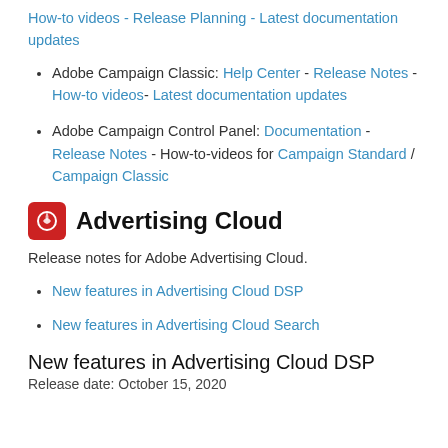How-to videos - Release Planning - Latest documentation updates
Adobe Campaign Classic: Help Center - Release Notes - How-to videos- Latest documentation updates
Adobe Campaign Control Panel: Documentation - Release Notes - How-to-videos for Campaign Standard / Campaign Classic
Advertising Cloud
Release notes for Adobe Advertising Cloud.
New features in Advertising Cloud DSP
New features in Advertising Cloud Search
New features in Advertising Cloud DSP
Release date: October 15, 2020